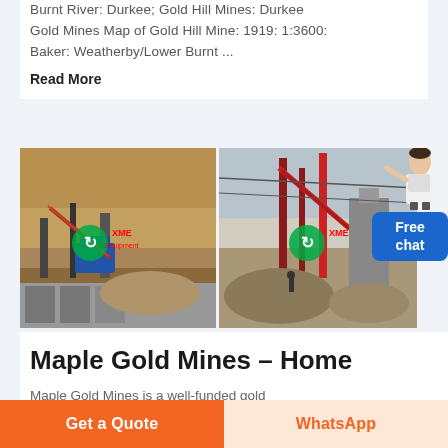Burnt River: Durkee; Gold Hill Mines: Durkee Gold Mines Map of Gold Hill Mine: 1919: 1:3600: Baker: Weatherby/Lower Burnt ...
Read More
[Figure (photo): Two side-by-side photos of open-pit mining operations with conveyors, crushing equipment, rock piles, and XME logo overlays with green recycling icons.]
Maple Gold Mines – Home
Maple Gold Mines is a well-funded gold
Get a Quote
WhatsApp